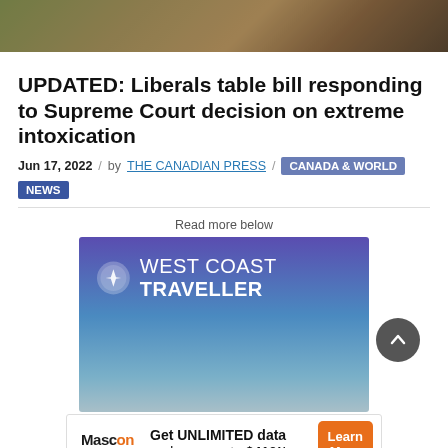[Figure (photo): Partial top image of a bird or wildlife scene, cropped at top of page]
UPDATED: Liberals table bill responding to Supreme Court decision on extreme intoxication
Jun 17, 2022 / by THE CANADIAN PRESS / CANADA & WORLD NEWS
[Figure (logo): West Coast Traveller advertisement banner with blue-purple gradient background and logo]
[Figure (other): Mascon by Telus advertisement: Get UNLIMITED data and save up to $410!* Learn More]